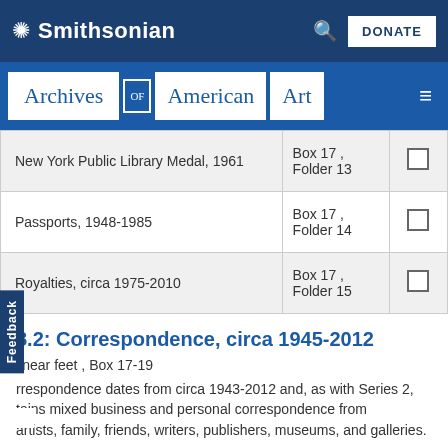Smithsonian
Archives of American Art
| Item | Location | Select |
| --- | --- | --- |
| New York Public Library Medal, 1961 | Box 17 , Folder 13 | ☐ |
| Passports, 1948-1985 | Box 17 , Folder 14 | ☐ |
| Royalties, circa 1975-2010 | Box 17 , Folder 15 | ☐ |
8.2: Correspondence, circa 1945-2012
linear feet , Box 17-19
rrespondence dates from circa 1943-2012 and, as with Series 2, tains mixed business and personal correspondence from artists, family, friends, writers, publishers, museums, and galleries.